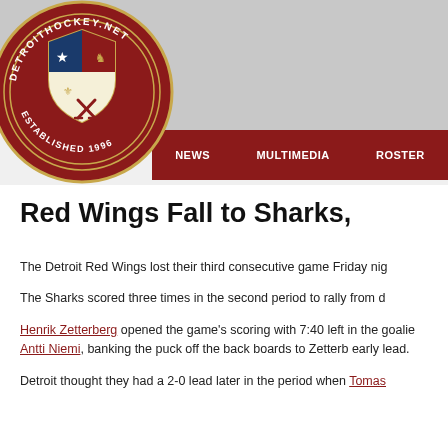[Figure (logo): DetroitHockey.net circular logo established 1996 with hockey stick shield crest]
NEWS    MULTIMEDIA    ROSTER
Red Wings Fall to Sharks,
The Detroit Red Wings lost their third consecutive game Friday nig
The Sharks scored three times in the second period to rally from d
Henrik Zetterberg opened the game's scoring with 7:40 left in the goalie Antti Niemi, banking the puck off the back boards to Zetterbg early lead.
Detroit thought they had a 2-0 lead later in the period when Tomas